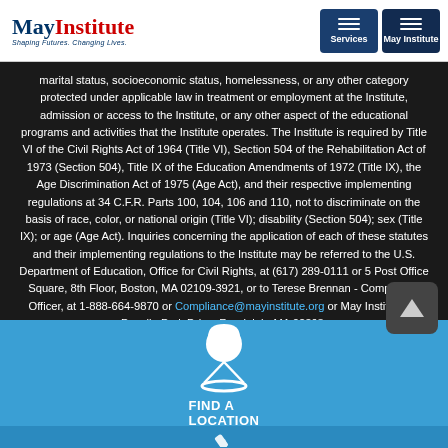May Institute — Shaping Futures. Changing Lives. | Navigation: Services, May Institute
marital status, socioeconomic status, homelessness, or any other category protected under applicable law in treatment or employment at the Institute, admission or access to the Institute, or any other aspect of the educational programs and activities that the Institute operates. The Institute is required by Title VI of the Civil Rights Act of 1964 (Title VI), Section 504 of the Rehabilitation Act of 1973 (Section 504), Title IX of the Education Amendments of 1972 (Title IX), the Age Discrimination Act of 1975 (Age Act), and their respective implementing regulations at 34 C.F.R. Parts 100, 104, 106 and 110, not to discriminate on the basis of race, color, or national origin (Title VI); disability (Section 504); sex (Title IX); or age (Age Act). Inquiries concerning the application of each of these statutes and their implementing regulations to the Institute may be referred to the U.S. Department of Education, Office for Civil Rights, at (617) 289-0111 or 5 Post Office Square, 8th Floor, Boston, MA 02109-3921, or to Terese Brennan - Compliance Officer, at 1-888-664-9870 or Compliance@mayinstitute.org or May Institute 14 Pacella Park Drive, Randolph, MA 02368.
[Figure (infographic): Find a Location icon with map pin and circular base, white on blue background, with text FIND A LOCATION below]
[Figure (infographic): Scroll-up button with upward triangle arrow on dark grey rounded square background]